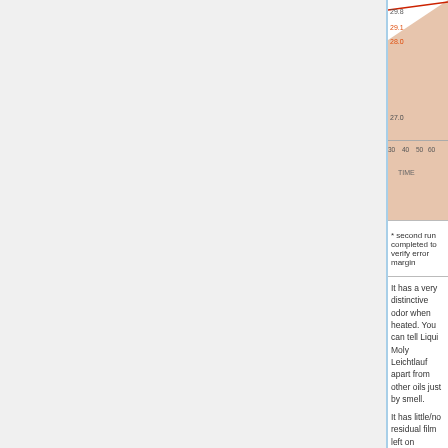[Figure (continuous-plot): Partial line/area chart showing temperature over time. Y-axis shows values 27.0, 29.8, 29.1, 28.0. X-axis labeled TIME with ticks at 30, 40, 50, 60, 70, 80. Contains an orange/tan shaded area and a red line.]
* second run completed to verify error margin
It has a very distinctive odor when heated. You can tell Liqui Moly Leichtlauf apart from other oils just by smell.
It has little/no residual film left on components after oil stops flowing. It flows easily and cleanly. However, it has poor dry-start ability, and each time weight was applied it needed to be applied very gradually to keep the testing machine from seizing.
Very high temps after the 30 minute mark and high energy usage leads to the assumption that this is not a "racing oil", in that its performance degrades under